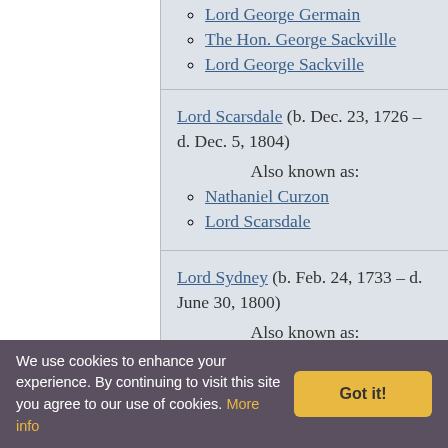Lord George Germain
The Hon. George Sackville
Lord George Sackville
Lord Scarsdale (b. Dec. 23, 1726 - d. Dec. 5, 1804) Also known as:
Nathaniel Curzon
Lord Scarsdale
Lord Sydney (b. Feb. 24, 1733 - d. June 30, 1800) Also known as:
We use cookies to enhance your experience. By continuing to visit this site you agree to our use of cookies. More info